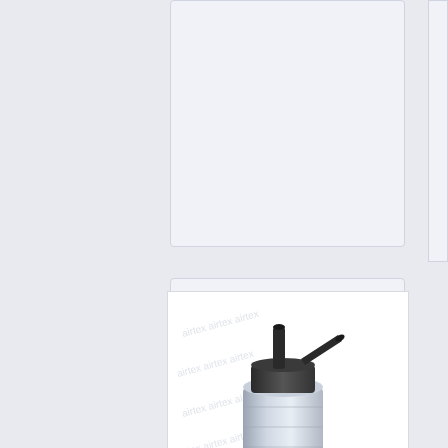[Figure (photo): Partially visible product card at top of page, content not readable]
[Figure (photo): Airtex electric fuel pump (model E2068) - a cylindrical silver metal fuel pump with black connectors/fittings at the top, shown on white background with faint logo watermark]
airtex electric fuel pump for ford-e2068
$120.00
details
order now